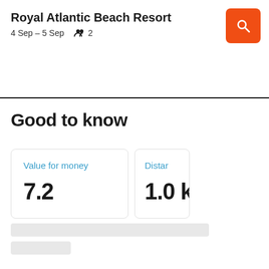Royal Atlantic Beach Resort
4 Sep – 5 Sep   2
Good to know
Value for money
7.2
Distan...
1.0 k...